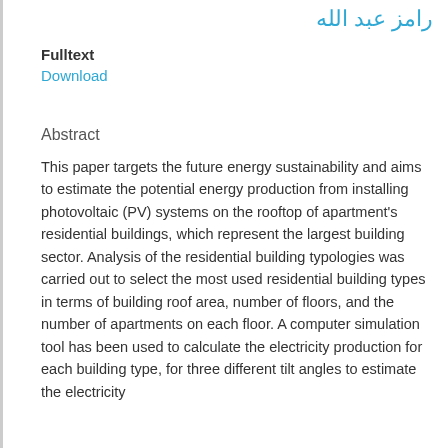رامز عبد الله
Fulltext
Download
Abstract
This paper targets the future energy sustainability and aims to estimate the potential energy production from installing photovoltaic (PV) systems on the rooftop of apartment's residential buildings, which represent the largest building sector. Analysis of the residential building typologies was carried out to select the most used residential building types in terms of building roof area, number of floors, and the number of apartments on each floor. A computer simulation tool has been used to calculate the electricity production for each building type, for three different tilt angles to estimate the electricity